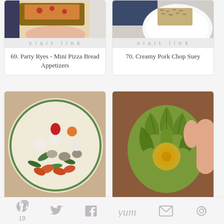[Figure (photo): Partial image of party rye mini pizza bread appetizer held in hand]
visit link
69. Party Ryes - Mini Pizza Bread Appetizers
[Figure (photo): Partial image of creamy pork chop suey on a white plate with blue napkin]
visit link
70. Creamy Pork Chop Suey
[Figure (photo): A bowl of chirashi with shrimp, seafood, and vegetables in Japanese style]
visit link
71. A Quick Chirashi Bowl, Japanese-Inspired
[Figure (photo): A hand holding a whole artichoke, green and yellow-brown]
visit link
72. Cooking Artichokes the Simple Way
19